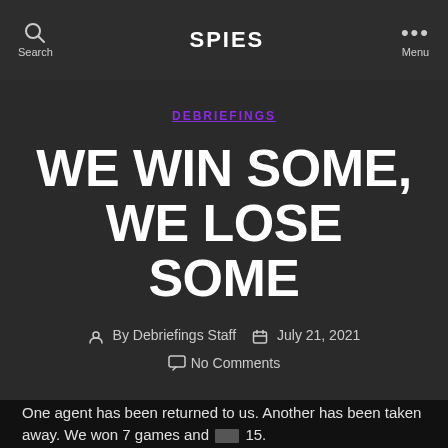Search | SPIES | Menu
DEBRIEFINGS
WE WIN SOME, WE LOSE SOME
By Debriefings Staff  July 21, 2021  No Comments
One agent has been returned to us. Another has been taken away. We won 7 games and [REDACTED] 15.